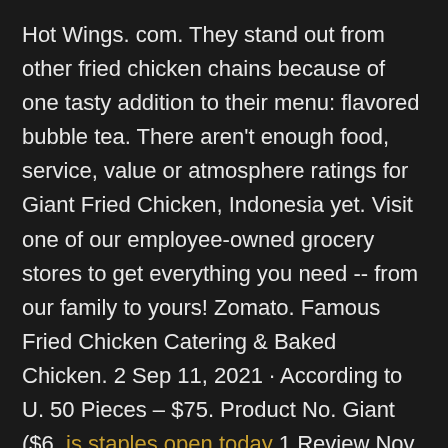Hot Wings. com. They stand out from other fried chicken chains because of one tasty addition to their menu: flavored bubble tea. There aren't enough food, service, value or atmosphere ratings for Giant Fried Chicken, Indonesia yet. Visit one of our employee-owned grocery stores to get everything you need -- from our family to yours! Zomato. Famous Fried Chicken Catering & Baked Chicken. 2 Sep 11, 2021 · According to U. 50 Pieces – $75. Product No. Giant ($6. is staples open today 1 Review Nov 27, 2021 · This entry was posted in Taiwan Food and tagged chicken, fried chicken, grilled chicken, korean fried chicken, shilin night market, shilin night market food, spicy chicken, taipei food, Taiwan Food, taiwanese street food, 韓國 치킨 맛집, 후라이드 치킨, 치킨 종류, 치킨, 치킨 레시피. Fast-food giant Popeyes has been stashing chicken for months amid a nationwide shortage and price hikes — to ensure it has a